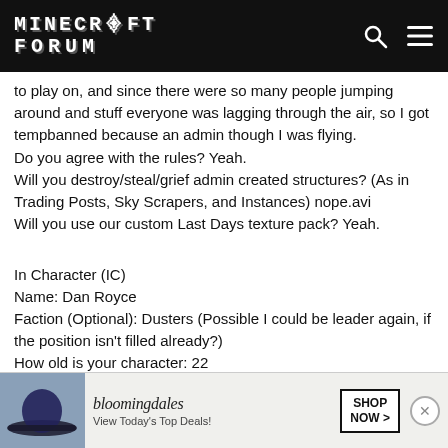Minecraft Forum
to play on, and since there were so many people jumping around and stuff everyone was lagging through the air, so I got tempbanned because an admin though I was flying.
Do you agree with the rules? Yeah.
Will you destroy/steal/grief admin created structures? (As in Trading Posts, Sky Scrapers, and Instances) nope.avi
Will you use our custom Last Days texture pack? Yeah.
In Character (IC)
Name: Dan Royce
Faction (Optional): Dusters (Possible I could be leader again, if the position isn't filled already?)
How old is your character: 22
How does your character act? Very reserved, doesn't act rashly, thinks everything through before doing it and tries to avoid violence. Very forgiving.
Does your character have any family or close friends? No, other than people in the Dusters.
Is your character educated (Read and write)? Yes.
Does yo... pretty good wi...
[Figure (screenshot): Bloomingdales advertisement banner at the bottom of the page with 'View Today's Top Deals!' text and a Shop Now button]